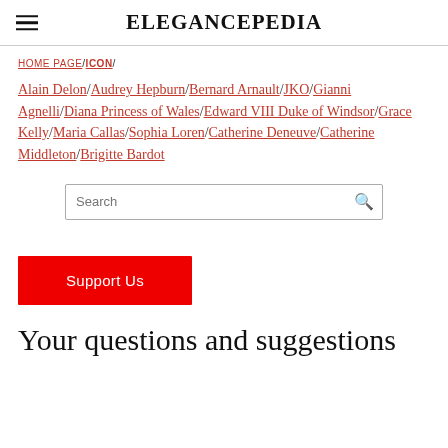ELEGANCEPEDIA
HOME PAGE / ICON /
Alain Delon/Audrey Hepburn/Bernard Arnault/JKO/Gianni Agnelli/Diana Princess of Wales/Edward VIII Duke of Windsor/Grace Kelly/Maria Callas/Sophia Loren/Catherine Deneuve/Catherine Middleton/Brigitte Bardot
[Figure (other): Search input box with a magnifying glass icon]
[Figure (other): Red Support Us button]
Your questions and suggestions